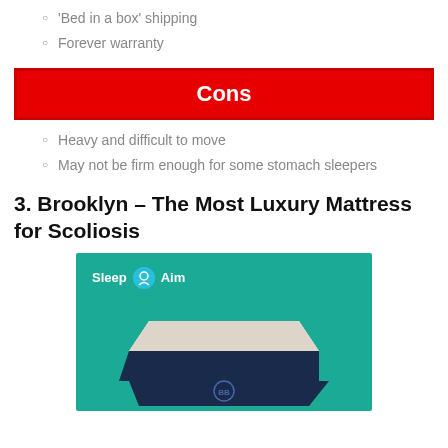'Bed in a box' shipping
Forever warranty
Cons
Heavy and difficult to move
May not be firm enough for some stomach sleepers
3. Brooklyn – The Most Luxury Mattress for Scoliosis
[Figure (photo): Brooklyn Bedding mattress on teal background with Sleep Aim logo]